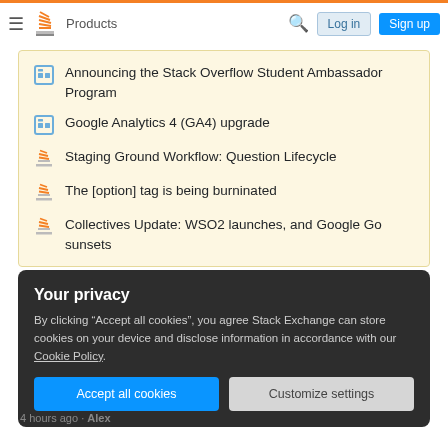≡  [Stack Overflow logo]  Products  🔍  Log in  Sign up
Announcing the Stack Overflow Student Ambassador Program
Google Analytics 4 (GA4) upgrade
Staging Ground Workflow: Question Lifecycle
The [option] tag is being burninated
Collectives Update: WSO2 launches, and Google Go sunsets
Your privacy
By clicking "Accept all cookies", you agree Stack Exchange can store cookies on your device and disclose information in accordance with our Cookie Policy.
Accept all cookies  Customize settings
4 hours ago · Alex